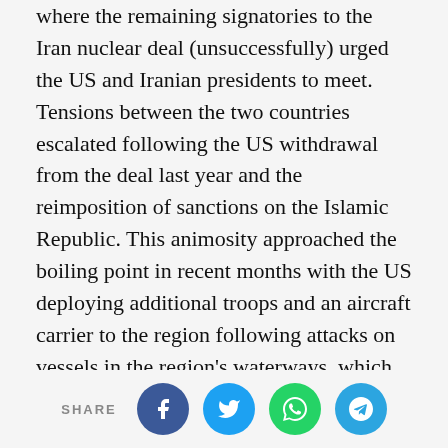where the remaining signatories to the Iran nuclear deal (unsuccessfully) urged the US and Iranian presidents to meet. Tensions between the two countries escalated following the US withdrawal from the deal last year and the reimposition of sanctions on the Islamic Republic. This animosity approached the boiling point in recent months with the US deploying additional troops and an aircraft carrier to the region following attacks on vessels in the region's waterways, which Washington blamed on Iran. Europe is also desperate to save the nuclear deal after